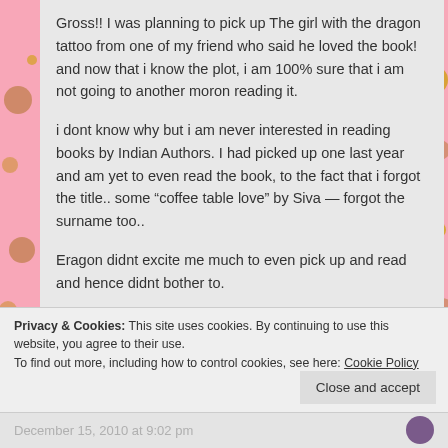Gross!! I was planning to pick up The girl with the dragon tattoo from one of my friend who said he loved the book! and now that i know the plot, i am 100% sure that i am not going to another moron reading it.
i dont know why but i am never interested in reading books by Indian Authors. I had picked up one last year and am yet to even read the book, to the fact that i forgot the title.. some "coffee table love" by Siva — forgot the surname too..
Eragon didnt excite me much to even pick up and read and hence didnt bother to.
Other books, havent heard of them.
Privacy & Cookies: This site uses cookies. By continuing to use this website, you agree to their use.
To find out more, including how to control cookies, see here: Cookie Policy
Close and accept
December 15, 2010 at 9:02 pm